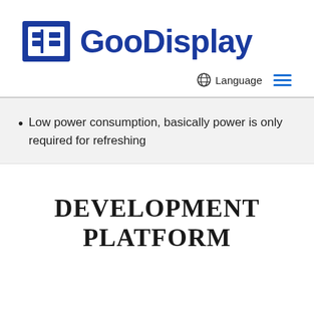[Figure (logo): GooDisplay company logo with blue square bracket icon and blue bold text 'GooDisplay']
Language  ☰
Low power consumption, basically power is only required for refreshing
DEVELOPMENT PLATFORM